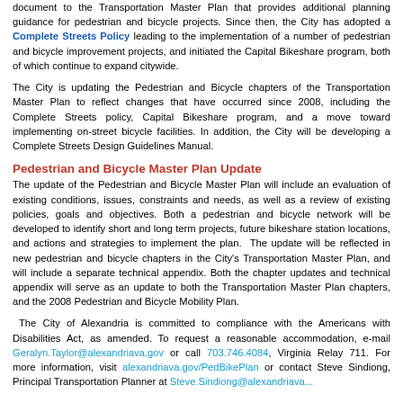document to the Transportation Master Plan that provides additional planning guidance for pedestrian and bicycle projects. Since then, the City has adopted a Complete Streets Policy leading to the implementation of a number of pedestrian and bicycle improvement projects, and initiated the Capital Bikeshare program, both of which continue to expand citywide.
The City is updating the Pedestrian and Bicycle chapters of the Transportation Master Plan to reflect changes that have occurred since 2008, including the Complete Streets policy, Capital Bikeshare program, and a move toward implementing on-street bicycle facilities. In addition, the City will be developing a Complete Streets Design Guidelines Manual.
Pedestrian and Bicycle Master Plan Update
The update of the Pedestrian and Bicycle Master Plan will include an evaluation of existing conditions, issues, constraints and needs, as well as a review of existing policies, goals and objectives. Both a pedestrian and bicycle network will be developed to identify short and long term projects, future bikeshare station locations, and actions and strategies to implement the plan. The update will be reflected in new pedestrian and bicycle chapters in the City's Transportation Master Plan, and will include a separate technical appendix. Both the chapter updates and technical appendix will serve as an update to both the Transportation Master Plan chapters, and the 2008 Pedestrian and Bicycle Mobility Plan.
The City of Alexandria is committed to compliance with the Americans with Disabilities Act, as amended. To request a reasonable accommodation, e-mail Geralyn.Taylor@alexandriava.gov or call 703.746.4084, Virginia Relay 711. For more information, visit alexandriava.gov/PedBikePlan or contact Steve Sindiong, Principal Transportation Planner at Steve.Sindiong@alexandriava...